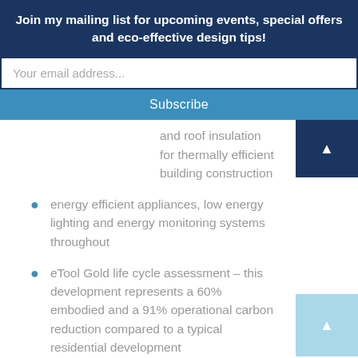Join my mailing list for upcoming events, special offers and eco-effective design tips!
Your email address...
Subscribe
and roof insulation for thermally efficient building construction
energy efficient appliances, low energy lighting and energy monitoring systems throughout
eTool Gold life cycle assessment – this development represents a 60% embodied and a 91% operational carbon reduction compared to a typical residential development